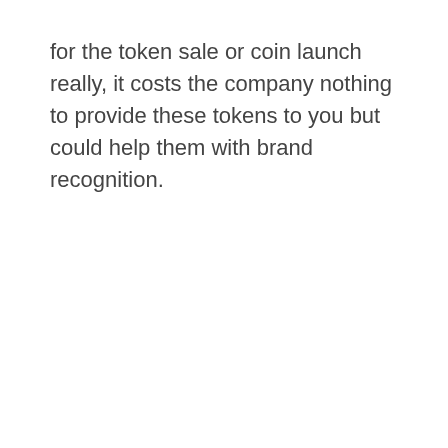for the token sale or coin launch really, it costs the company nothing to provide these tokens to you but could help them with brand recognition.